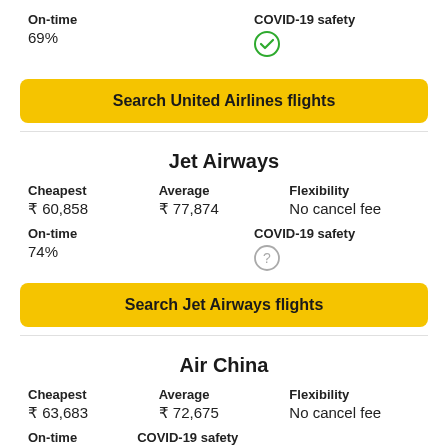On-time
69%
COVID-19 safety (green checkmark)
Search United Airlines flights
Jet Airways
Cheapest ₹ 60,858   Average ₹ 77,874   Flexibility No cancel fee
On-time
74%
COVID-19 safety (question mark)
Search Jet Airways flights
Air China
Cheapest ₹ 63,683   Average ₹ 72,675   Flexibility No cancel fee
On-time   COVID-19 safety